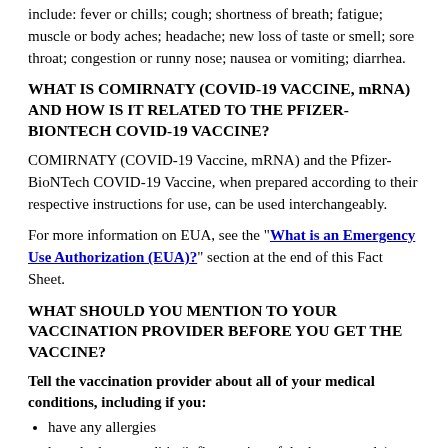include: fever or chills; cough; shortness of breath; fatigue; muscle or body aches; headache; new loss of taste or smell; sore throat; congestion or runny nose; nausea or vomiting; diarrhea.
WHAT IS COMIRNATY (COVID-19 VACCINE, mRNA) AND HOW IS IT RELATED TO THE PFIZER-BIONTECH COVID-19 VACCINE?
COMIRNATY (COVID-19 Vaccine, mRNA) and the Pfizer-BioNTech COVID-19 Vaccine, when prepared according to their respective instructions for use, can be used interchangeably.
For more information on EUA, see the "What is an Emergency Use Authorization (EUA)?" section at the end of this Fact Sheet.
WHAT SHOULD YOU MENTION TO YOUR VACCINATION PROVIDER BEFORE YOU GET THE VACCINE?
Tell the vaccination provider about all of your medical conditions, including if you:
have any allergies
have had myocarditis (inflammation of the heart muscle) or pericarditis (inflammation of the lining outside the heart)
have a fever
have a bleeding disorder or are on a blood thinner